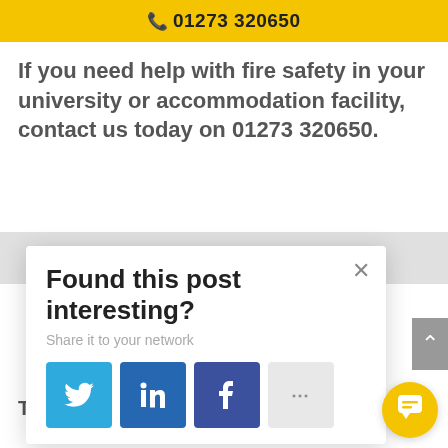📞 01273 320650
If you need help with fire safety in your university or accommodation facility, contact us today on 01273 320650.
[Figure (screenshot): Social share popup card with title 'Found this post interesting?', subtitle 'Share it to your network', and four share buttons: Twitter (blue bird icon), LinkedIn (dark blue in icon), Facebook (dark blue f icon), and a gray more options button with ellipsis. A close X button is in the top-right of the card.]
T ... c